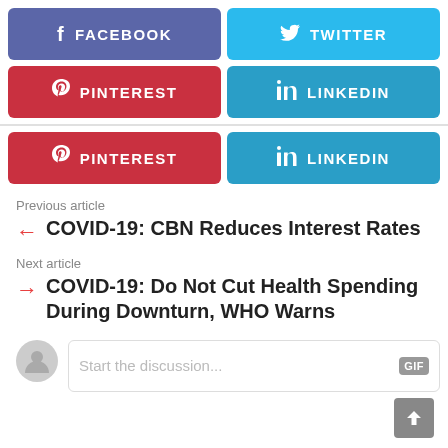[Figure (screenshot): Social share buttons: Facebook, Twitter, Pinterest, LinkedIn (two rows)]
Previous article
← COVID-19: CBN Reduces Interest Rates
Next article
→ COVID-19: Do Not Cut Health Spending During Downturn, WHO Warns
[Figure (screenshot): Comment input box with placeholder 'Start the discussion...' and GIF button, with user avatar]